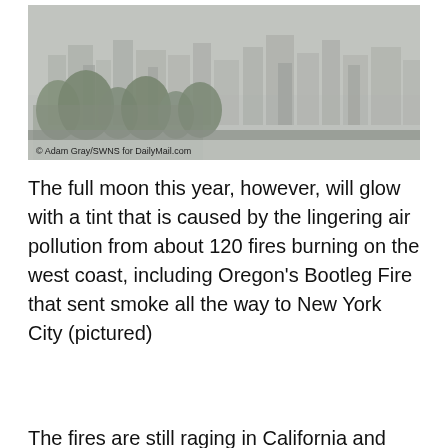[Figure (photo): A smoky hazy photo of a city skyline with trees in the foreground and buildings obscured by smoke/haze. Photo credit: © Adam Gray/SWNS for DailyMail.com]
The full moon this year, however, will glow with a tint that is caused by the lingering air pollution from about 120 fires burning on the west coast, including Oregon's Bootleg Fire that sent smoke all the way to New York City (pictured)
The fires are still raging in California and Oregon, which has